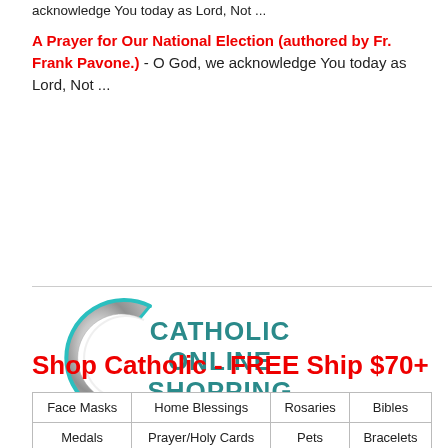acknowledge You today as Lord, Not ...
A Prayer for Our National Election (authored by Fr. Frank Pavone.) - O God, we acknowledge You today as Lord, Not ...
[Figure (logo): Catholic Online Shopping logo — metallic C letter with teal outline and teal text reading CATHOLIC ONLINE SHOPPING]
Shop Catholic - FREE Ship $70+
| Face Masks | Home Blessings | Rosaries | Bibles |
| --- | --- | --- | --- |
| Medals | Prayer/Holy Cards | Pets | Bracelets |